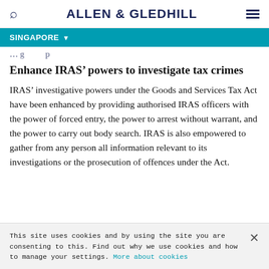ALLEN & GLEDHILL
SINGAPORE
Enhance IRAS’ powers to investigate tax crimes
IRAS’ investigative powers under the Goods and Services Tax Act have been enhanced by providing authorised IRAS officers with the power of forced entry, the power to arrest without warrant, and the power to carry out body search. IRAS is also empowered to gather from any person all information relevant to its investigations or the prosecution of offences under the Act.
This site uses cookies and by using the site you are consenting to this. Find out why we use cookies and how to manage your settings. More about cookies